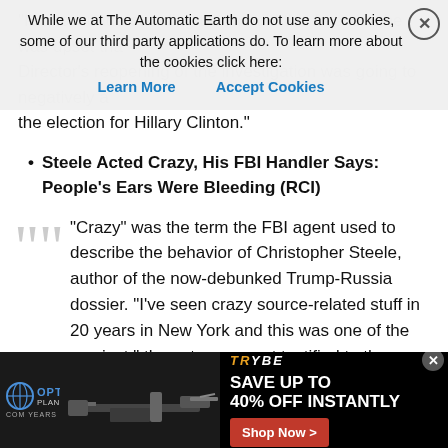"I'm now understanding that he did this because he was upset that Director's reopening of the investigation was going to negatively affect the election for Hillary Clinton."
Steele Acted Crazy, His FBI Handler Says: People's Ears Were Bleeding (RCI)
"Crazy" was the term the FBI agent used to describe the behavior of Christopher Steele, author of the now-debunked Trump-Russia dossier. "I've seen crazy source-related stuff in 20 years in New York and this was one of the craziest," the veteran agent testified to the Senate Select Committee on Intelligence. Nevertheless, the FBI continued to rely on Steele's allegations – that Donald Trump and his team were conspiring with Russians who possessed compromising information – to justify its surveillance of the Trump campaign. Without evidence to verify Steele's claims, the FBI fell back on its assertion
[Figure (screenshot): Cookie consent banner overlay: 'While we at The Automatic Earth do not use any cookies, some of our third party applications do. To learn more about the cookies click here: Learn More / Accept Cookies' with a close X button]
[Figure (photo): Advertisement banner at bottom: Optics Planet 20 years logo on left with gun image, right side shows Tribe logo, SAVE UP TO 40% OFF INSTANTLY text, and Shop Now button in red]